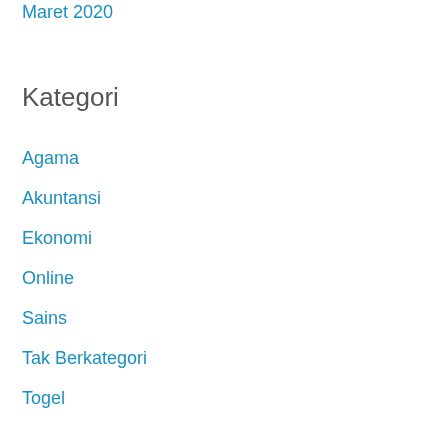Maret 2020
Kategori
Agama
Akuntansi
Ekonomi
Online
Sains
Tak Berkategori
Togel
Friendship
Poker 88